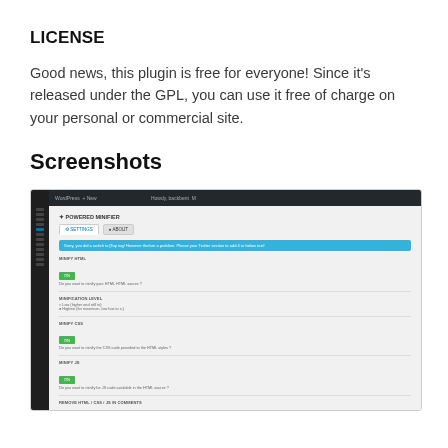LICENSE
Good news, this plugin is free for everyone! Since it’s released under the GPL, you can use it free of charge on your personal or commercial site.
Screenshots
[Figure (screenshot): WordPress admin panel screenshot showing the Powered Minifier plugin settings page with tabs for Settings and About, a blue notice banner, and several toggle options for Minify HTML, Minification Level, Minify CSS, Minify JS, and Remove HTML/CSS/JS In Comments settings.]